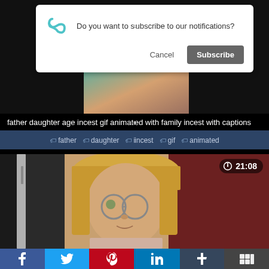[Figure (screenshot): Browser notification permission dialog with infinity/loop icon, text 'Do you want to subscribe to our notifications?', Cancel and Subscribe buttons]
[Figure (screenshot): Partial video thumbnail visible behind dialog]
father daughter age incest gif animated with family incest with captions
#father #daughter #incest #gif #animated
[Figure (screenshot): Video thumbnail showing a middle-aged woman with blonde bangs and glasses, duration badge 21:08]
[Figure (screenshot): Social sharing bar with Facebook, Twitter, Pinterest, LinkedIn, Tumblr, and another social network buttons]